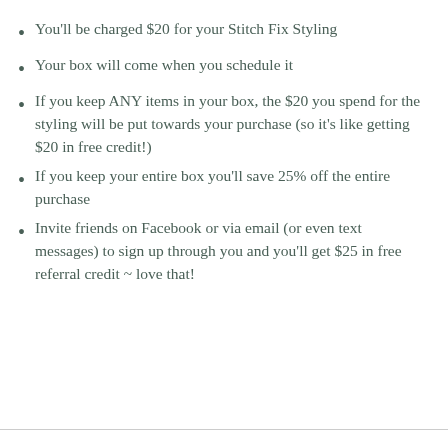You'll be charged $20 for your Stitch Fix Styling
Your box will come when you schedule it
If you keep ANY items in your box, the $20 you spend for the styling will be put towards your purchase (so it's like getting $20 in free credit!)
If you keep your entire box you'll save 25% off the entire purchase
Invite friends on Facebook or via email (or even text messages) to sign up through you and you'll get $25 in free referral credit ~ love that!